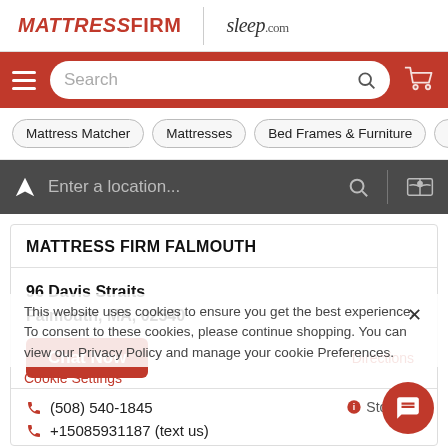[Figure (screenshot): MattressFirm and sleep.com logos in top header bar]
[Figure (screenshot): Red navigation bar with hamburger menu, search box, and cart icon]
Mattress Matcher
Mattresses
Bed Frames & Furniture
Be...
[Figure (screenshot): Dark grey location search bar with arrow, text input, search icon, divider, and map icon]
MATTRESS FIRM FALMOUTH
96 Davis Straits
Falmouth, MA, 02540
Chat Now
Directions
(508) 540-1845
+15085931187 (text us)
Store Info
This website uses cookies to ensure you get the best experience. To consent to these cookies, please continue shopping. You can view our Privacy Policy and manage your cookie Preferences.
Cookie Settings